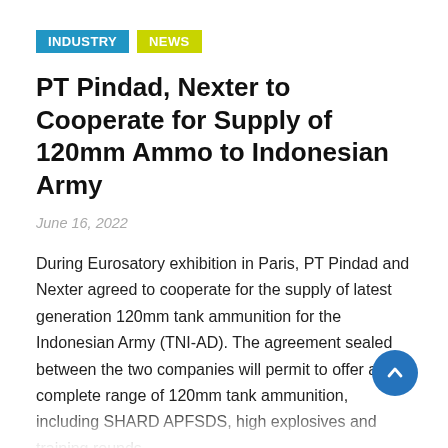INDUSTRY  NEWS
PT Pindad, Nexter to Cooperate for Supply of 120mm Ammo to Indonesian Army
June 16, 2022
During Eurosatory exhibition in Paris, PT Pindad and Nexter agreed to cooperate for the supply of latest generation 120mm tank ammunition for the Indonesian Army (TNI-AD). The agreement sealed between the two companies will permit to offer a complete range of 120mm tank ammunition, including SHARD APFSDS, high explosives and training rounds.